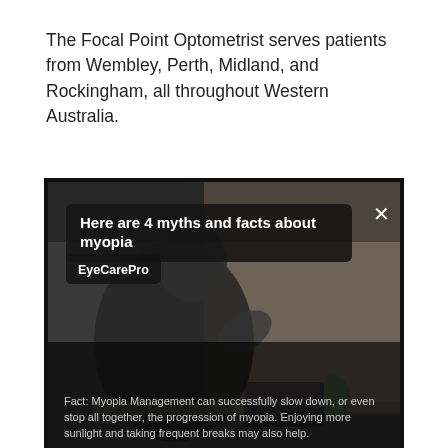The Focal Point Optometrist serves patients from Wembley, Perth, Midland, and Rockingham, all throughout Western Australia.
[Figure (screenshot): Embedded video player screenshot showing a man sitting at a desk in a dimly lit room. The video has a dark title bar overlay at the top reading 'Here are 4 myths and facts about myopia', a channel label 'EyeCarePro', a close button (X), and a subtitle caption at the bottom reading 'Fact: Myopia Management can successfully slow down, or even stop all together, the progression of myopia. Enjoying more sunlight and taking frequent breaks may also help.']